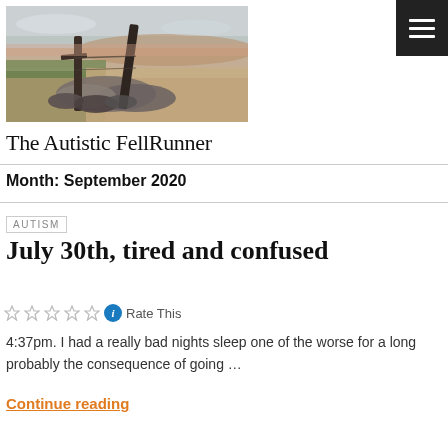[Figure (illustration): A landscape painting showing a moorland or rural scene with a wooden post/fence, rocks, and a muted sky with pinkish and green tones.]
The Autistic FellRunner
Month: September 2020
AUTISM
July 30th, tired and confused
Rate This
4:37pm. I had a really bad nights sleep one of the worse for a long probably the consequence of going …
Continue reading